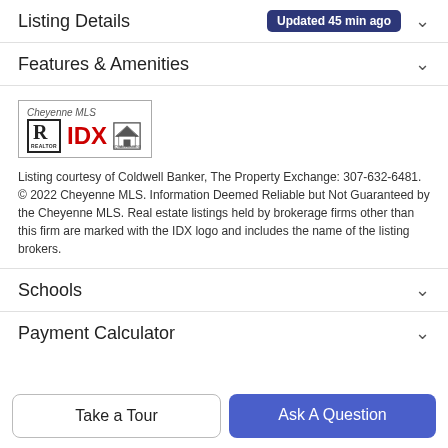Listing Details Updated 45 min ago
Features & Amenities
[Figure (logo): Cheyenne MLS IDX logo with Realtor and Equal Housing Opportunity symbols]
Listing courtesy of Coldwell Banker, The Property Exchange: 307-632-6481. © 2022 Cheyenne MLS. Information Deemed Reliable but Not Guaranteed by the Cheyenne MLS. Real estate listings held by brokerage firms other than this firm are marked with the IDX logo and includes the name of the listing brokers.
Schools
Payment Calculator
Take a Tour
Ask A Question